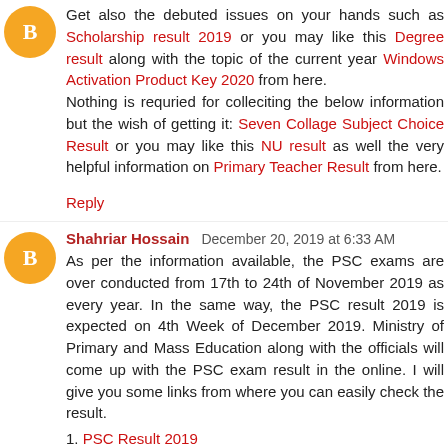Get also the debuted issues on your hands such as Scholarship result 2019 or you may like this Degree result along with the topic of the current year Windows Activation Product Key 2020 from here.
Nothing is requried for colleciting the below information but the wish of getting it: Seven Collage Subject Choice Result or you may like this NU result as well the very helpful information on Primary Teacher Result from here.
Reply
Shahriar Hossain  December 20, 2019 at 6:33 AM
As per the information available, the PSC exams are over conducted from 17th to 24th of November 2019 as every year. In the same way, the PSC result 2019 is expected on 4th Week of December 2019. Ministry of Primary and Mass Education along with the officials will come up with the PSC exam result in the online. I will give you some links from where you can easily check the result.
PSC Result 2019